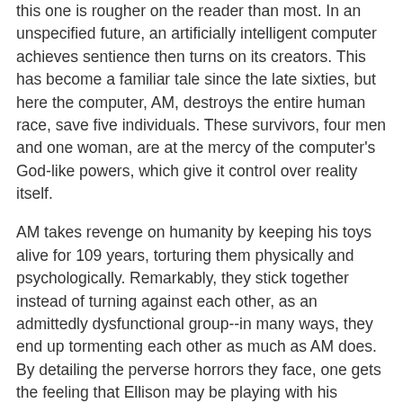this one is rougher on the reader than most. In an unspecified future, an artificially intelligent computer achieves sentience then turns on its creators. This has become a familiar tale since the late sixties, but here the computer, AM, destroys the entire human race, save five individuals. These survivors, four men and one woman, are at the mercy of the computer's God-like powers, which give it control over reality itself.
AM takes revenge on humanity by keeping his toys alive for 109 years, torturing them physically and psychologically. Remarkably, they stick together instead of turning against each other, as an admittedly dysfunctional group--in many ways, they end up tormenting each other as much as AM does. By detailing the perverse horrors they face, one gets the feeling that Ellison may be playing with his readers, but its their relentless suffering that allow us to sympathize with his obviously flawed characters.
Though on the surface "I Have No Mouth" may seems pessimistic and mean-spirited, it ultimately shows the triumph of an individual, of humanity, albeit at great sacrifice. In it we have the course...